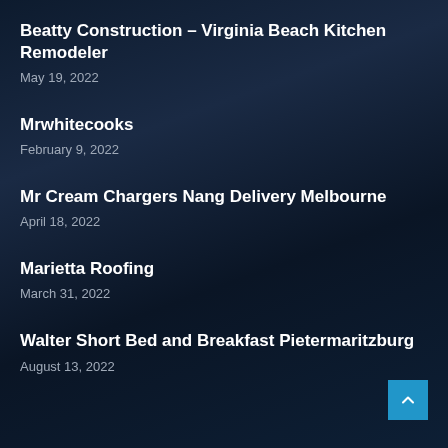Beatty Construction – Virginia Beach Kitchen Remodeler
May 19, 2022
Mrwhitecooks
February 9, 2022
Mr Cream Chargers Nang Delivery Melbourne
April 18, 2022
Marietta Roofing
March 31, 2022
Walter Short Bed and Breakfast Pietermaritzburg
August 13, 2022